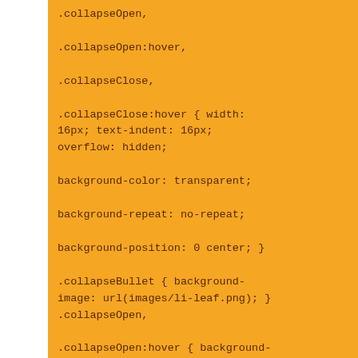.collapseOpen,
.collapseOpen:hover,
.collapseClose,
.collapseClose:hover { width: 16px; text-indent: 16px; overflow: hidden;

background-color: transparent;

background-repeat: no-repeat;

background-position: 0 center; }

.collapseBullet { background-image: url(images/li-leaf.png); }
.collapseOpen,
.collapseOpen:hover { background-image: url(images/li-open.png); }
.collapseClose,
.collapseClose:hover { background-image: url(images/li-close.png); }

}}}
%%

%%

----

Back to [BrushedTemplate]